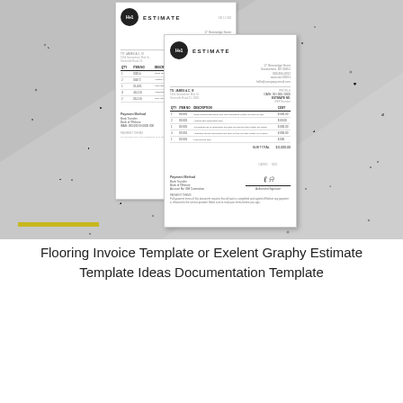[Figure (photo): Product mockup image showing two overlapping estimate/invoice document templates on a speckled gray concrete-like background. The back document shows an estimate template with a logo, company details, and a line-item table. The front document shows a more detailed estimate template with logo, client info, itemized table with costs, subtotal, payment details, and a signature area.]
Flooring Invoice Template or Exelent Graphy Estimate Template Ideas Documentation Template